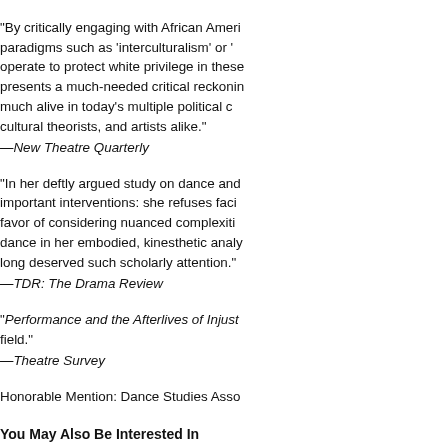“By critically engaging with African Ameri… paradigms such as ‘interculturalism’ or ‘… operate to protect white privilege in these… presents a much-needed critical reckonin… much alive in today’s multiple political c… cultural theorists, and artists alike.”
—New Theatre Quarterly
“In her deftly argued study on dance and… important interventions: she refuses faci… favor of considering nuanced complexiti… dance in her embodied, kinesthetic analy… long deserved such scholarly attention.”
—TDR: The Drama Review
“Performance and the Afterlives of Injust… field.”
—Theatre Survey
Honorable Mention: Dance Studies Asso…
You May Also Be Interested In